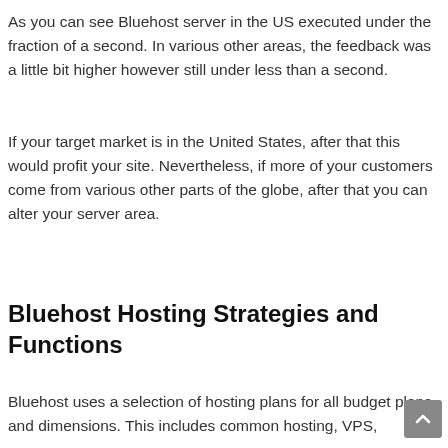As you can see Bluehost server in the US executed under the fraction of a second. In various other areas, the feedback was a little bit higher however still under less than a second.
If your target market is in the United States, after that this would profit your site. Nevertheless, if more of your customers come from various other parts of the globe, after that you can alter your server area.
Bluehost Hosting Strategies and Functions
Bluehost uses a selection of hosting plans for all budget plans and dimensions. This includes common hosting, VPS,